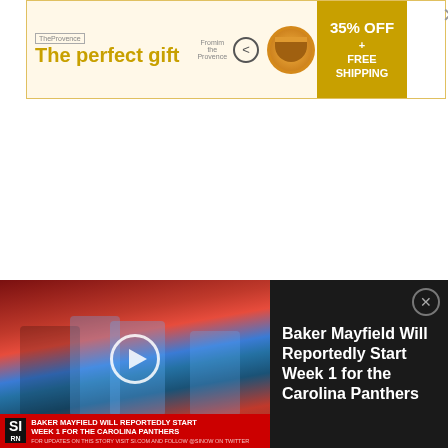[Figure (screenshot): Advertisement banner: 'The perfect gift' with food bowl imagery, left/right arrows, and '35% OFF + FREE SHIPPING' gold box on right. Close X button on far right.]
It's why Stephen Gionta only got fined $2,284.95 for this spear to Ottawa Senators defenseman
[Figure (screenshot): Video overlay with thumbnail of Baker Mayfield / Carolina Panthers football game. Red bottom bar reads 'BAKER MAYFIELD WILL REPORTEDLY START WEEK 1 FOR THE CAROLINA PANTHERS'. Right side dark panel reads 'Baker Mayfield Will Reportedly Start Week 1 for the Carolina Panthers' with close button.]